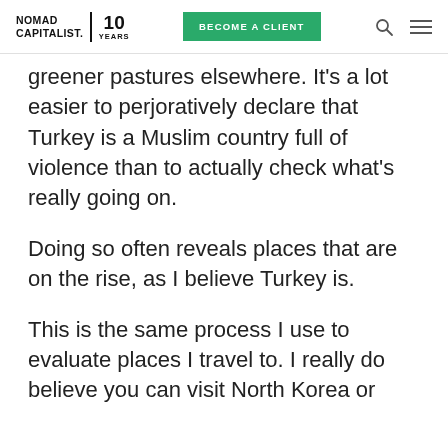NOMAD CAPITALIST. 10 YEARS | BECOME A CLIENT
greener pastures elsewhere. It's a lot easier to perjoratively declare that Turkey is a Muslim country full of violence than to actually check what's really going on.
Doing so often reveals places that are on the rise, as I believe Turkey is.
This is the same process I use to evaluate places I travel to. I really do believe you can visit North Korea or